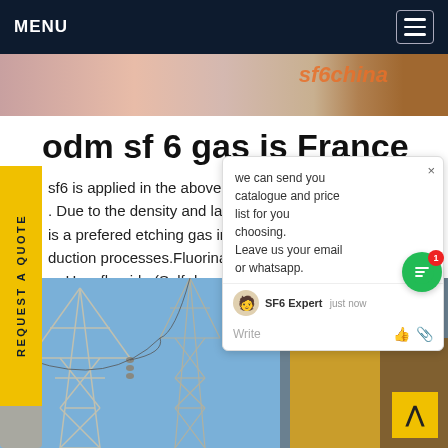MENU
[Figure (photo): Partial photo strip at top showing people in colorful clothing, with orange stylized text overlay on right side]
odm sf 6 gas is France
sf6 is applied in the above proce... ching . Due to the density and large mo... gaz is a prefered etching gas in flat p... E... duction processes.Fluorinated g... s ur Hexafluoride (Sulfr hexaflu... / ortant roles in Get price
[Figure (screenshot): Chat popup overlay: 'we can send you catalogue and price list for you choosing. Leave us your email or whatsapp.' with SF6 Expert agent, just now timestamp, Write field with like and attachment icons]
REQUEST A QUOTE
[Figure (photo): Bottom photo showing industrial electrical transmission towers/pylons against blue sky on the left, and yellow industrial structure on the right]